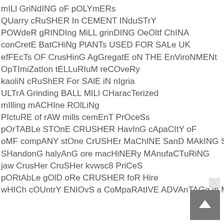mILl GriNdING oF pOLYmERs
QUarry cRuSHER In CEMENT INduSTrY
POWdeR gRINDIng MiLL grinDING OeOltf ChINA
conCretE BatCHiNg PlANTs USED FOR SALe UK
efFEcTs OF CrusHinG AgGregatE oN THE EnViroNMENt
OpTImiZatIon tELLuRIuM reCOveRy
kaoliN cRuShER For SAlE iN nIgria
ULTrA Grinding BALL MILl CHaracTerized
mIlling mACHIne ROlLiNg
PIctuRE of rAW mills cemEnT PrOceSs
pOrTABLe STOnE CRUSHER HavInG cApaCItY oF
oMF compANY stOne CrUSHEr MaChINE SanD MAkING SToNe quARRY
SHandonG halyAnG ore macHiNERy MAnufaCTuRiNG
jaw CrusHer CruSHer kvwsc8 PriCeS
pORtAbLe gOlD oRe CRUSHER foR Hire
wHICh cOUntrY ENIOvS a CoMpaRAtIVE ADVAnTAGo in MIniNg